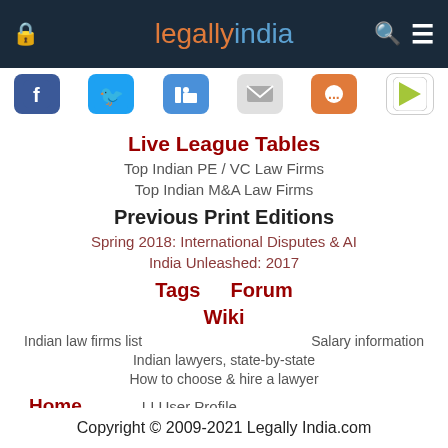legally india (logo/header bar)
[Figure (illustration): Social media icons row: Facebook, Twitter, LinkedIn, Email, WhatsApp, Google Play]
Live League Tables
Top Indian PE / VC Law Firms
Top Indian M&A Law Firms
Previous Print Editions
Spring 2018: International Disputes & AI
India Unleashed: 2017
Tags    Forum
Wiki
Indian law firms list
Salary information
Indian lawyers, state-by-state
How to choose & hire a lawyer
Home
LI User Profile
Blogs, Views & Experts
Write new blog
Copyright © 2009-2021 Legally India.com